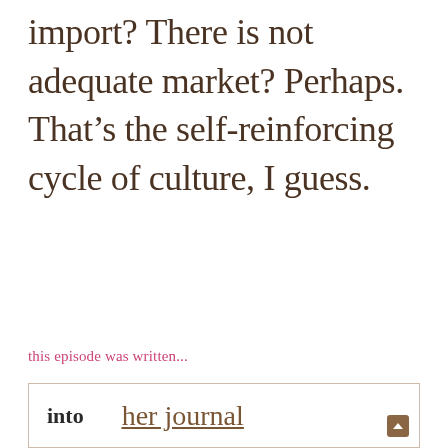import? There is not adequate market? Perhaps. That’s the self-reinforcing cycle of culture, I guess.
this episode was written...
into  her journal